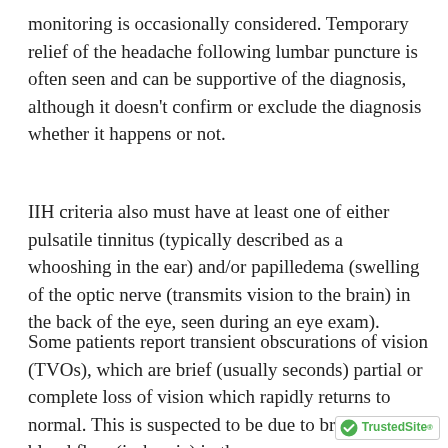monitoring is occasionally considered. Temporary relief of the headache following lumbar puncture is often seen and can be supportive of the diagnosis, although it doesn't confirm or exclude the diagnosis whether it happens or not.
IIH criteria also must have at least one of either pulsatile tinnitus (typically described as a whooshing in the ear) and/or papilledema (swelling of the optic nerve (transmits vision to the brain) in the back of the eye, seen during an eye exam).
Some patients report transient obscurations of vision (TVOs), which are brief (usually seconds) partial or complete loss of vision which rapidly returns to normal. This is suspected to be due to brief lack of blood flow (ischemia) in the swo